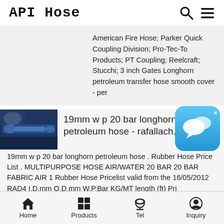API Hose
American Fire Hose; Parker Quick Coupling Division; Pro-Tec-To Products; PT Coupling; Reelcraft; Stucchi; 3 inch Gates Longhorn petroleum transfer hose smooth cover - per
[Figure (photo): Thumbnail image of industrial hose machinery with blue equipment visible]
19mm w p 20 bar longhorn petroleum hose - rafallach.pl
19mm w p 20 bar longhorn petroleum hose . Rubber Hose Price List . MULTIPURPOSE HOSE AIR/WATER 20 BAR 20 BAR FABRIC AIR 1 Rubber Hose Pricelist valid from the 16/05/2012 RAD4 I.D.mm O.D.mm W.P.Bar KG/MT length (mt) Price
Home  Products  Tel  Inquiry